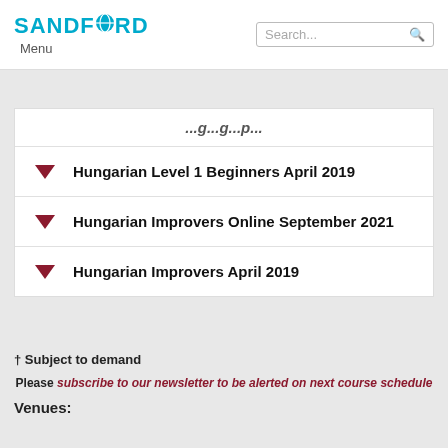SANDFORD Menu
Hungarian Level 1 Beginners April 2019
Hungarian Improvers Online September 2021
Hungarian Improvers April 2019
† Subject to demand
Please subscribe to our newsletter to be alerted on next course schedule
Venues: